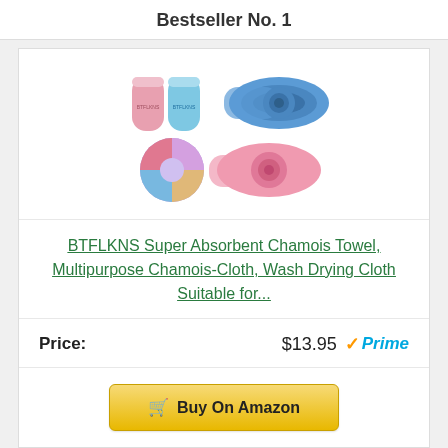Bestseller No. 1
[Figure (photo): Product image showing BTFLKNS chamois towels — two rolled towels in blue and pink, two packaged rolls, and a circular arrangement of colorful towels.]
BTFLKNS Super Absorbent Chamois Towel, Multipurpose Chamois-Cloth, Wash Drying Cloth Suitable for...
Price: $13.95 Prime
Buy On Amazon